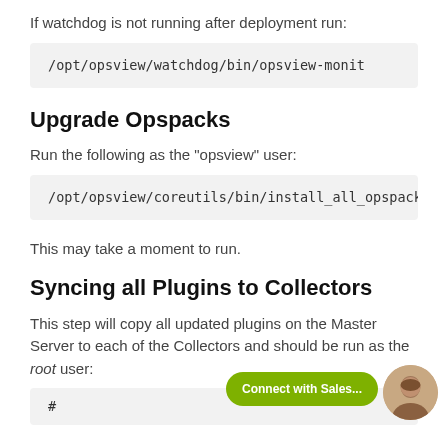If watchdog is not running after deployment run:
/opt/opsview/watchdog/bin/opsview-monit
Upgrade Opspacks
Run the following as the "opsview" user:
/opt/opsview/coreutils/bin/install_all_opspacks -
This may take a moment to run.
Syncing all Plugins to Collectors
This step will copy all updated plugins on the Master Server to each of the Collectors and should be run as the root user:
#